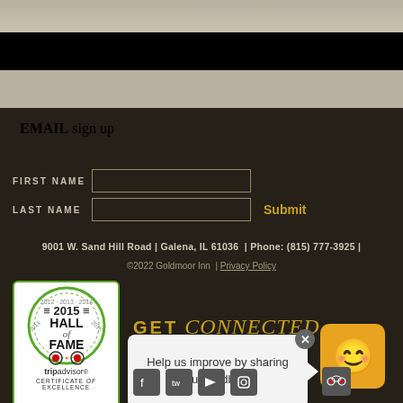[Figure (photo): Top portion of the page showing a paved driveway/road with some greenery, partially obscured by a black bar overlay]
EMAIL sign up
FIRST NAME
LAST NAME
Submit
9001 W. Sand Hill Road | Galena, IL 61036 | Phone: (815) 777-3925 |
©2022 Goldmoor Inn | Privacy Policy
[Figure (logo): TripAdvisor 2015 Hall of Fame Certificate of Excellence badge with green circle and owl logo]
GET connected
Help us improve by sharing your feedback.